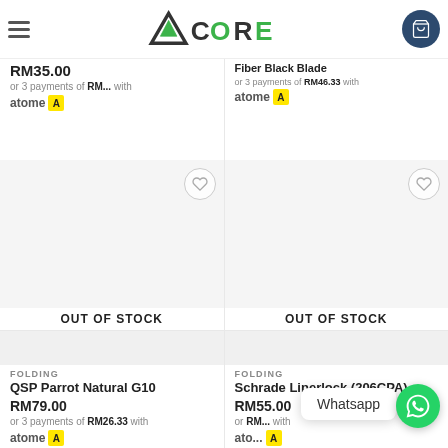ACORE (logo header)
RM35.00
or 3 payments of RM... with atome
Fiber Black Blade
or 3 payments of RM46.33 with atome
[Figure (other): OUT OF STOCK product card (left) - empty gray image placeholder with heart wishlist button]
[Figure (other): OUT OF STOCK product card (right) - empty gray image placeholder with heart wishlist button]
[Figure (other): Product card QSP Parrot Natural G10 - gray image placeholder]
FOLDING
QSP Parrot Natural G10
RM79.00
or 3 payments of RM26.33 with
atome
[Figure (other): Product card Schrade Linerlock (206CPA) - gray image placeholder]
FOLDING
Schrade Linerlock (206CPA)
RM55.00
or 3 payments of RM1... with
atome
Whatsapp